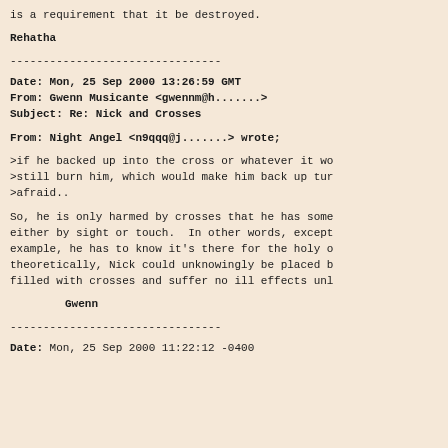is a requirement that it be destroyed.
Rehatha
--------------------------------
Date:     Mon, 25 Sep 2000 13:26:59 GMT
From:     Gwenn Musicante <gwennm@h.......>
Subject: Re: Nick and Crosses
From: Night Angel <n9qqq@j.......> wrote;
>if he backed up into the cross or whatever it wo
>still burn him, which would make him back up tur
>afraid..
So, he is only harmed by crosses that he has some
either by sight or touch.  In other words, except
example, he has to know it's there for the holy o
theoretically, Nick could unknowingly be placed b
filled with crosses and suffer no ill effects unl
Gwenn
--------------------------------
Date:    Mon, 25 Sep 2000 11:22:12 -0400